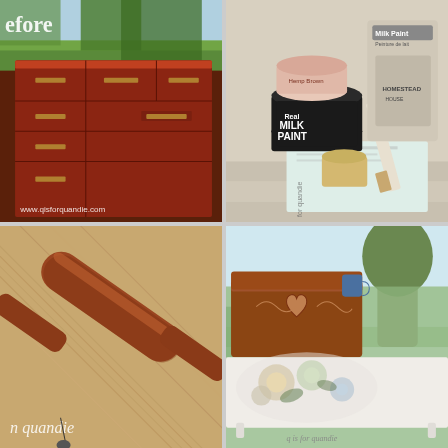[Figure (photo): Before photo of a dark mahogany wooden dresser with multiple drawers and brass hardware, with text 'before' overlaid at top-left and watermark 'www.qisforquandie.com' at bottom]
[Figure (photo): Photo of Real Milk Paint products including a black can of Real Milk Paint, a round pink container, two paper bags of Milk Paint Peinture de Lait, a beeswax block, a paint brush, and instruction papers on a wooden surface]
[Figure (photo): Close-up photo of a wooden rolling pin on diagonal wood plank flooring, with partial text 'n quandie' watermark at bottom-left]
[Figure (photo): Outdoor photo of a decorated wooden chest with heart and floral stencil design in natural wood finish, placed on top of a white coffee table with floral decoupage design, with garden and trees in background, watermark 'q is for quandie' at bottom-right]